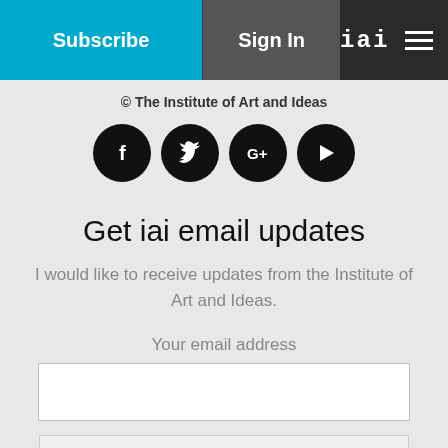Subscribe | Sign In | iai | ≡
© The Institute of Art and Ideas
[Figure (illustration): Four circular social media icons: Facebook (f), Twitter (bird), Google+ (G+), YouTube (play button)]
Get iai email updates
I would like to receive updates from the Institute of Art and Ideas.
Your email address
[Figure (screenshot): Email address input text field (empty, white box)]
[Figure (screenshot): reCAPTCHA widget with checkbox, 'I'm not a robot' text, reCAPTCHA logo and reCAPTCHA label]